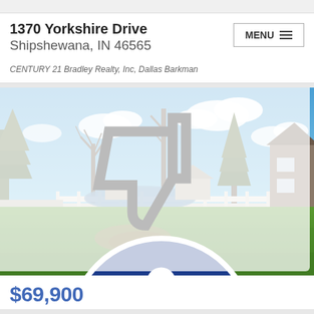1370 Yorkshire Drive
Shipshewana, IN 46565
CENTURY 21 Bradley Realty, Inc, Dallas Barkman
[Figure (photo): Outdoor yard photo showing green lawn, bare trees, pond or water feature in background, blue sky with clouds, neighboring house visible on right side]
$69,900